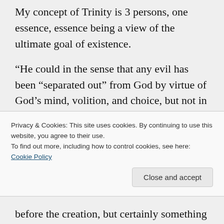My concept of Trinity is 3 persons, one essence, essence being a view of the ultimate goal of existence.
“He could in the sense that any evil has been “separated out” from God by virtue of God’s mind, volition, and choice, but not in the sense that there exists something evil that is other than God.”
The text says that through Adam death entered the world. Does that no
Privacy & Cookies: This site uses cookies. By continuing to use this website, you agree to their use.
To find out more, including how to control cookies, see here: Cookie Policy
before the creation, but certainly something